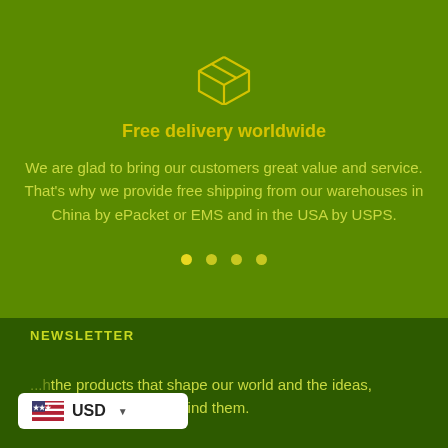[Figure (illustration): Yellow outline box/package icon on green background]
Free delivery worldwide
We are glad to bring our customers great value and service. That's why we provide free shipping from our warehouses in China by ePacket or EMS and in the USA by USPS.
[Figure (other): Four navigation dots, first dot highlighted]
NEWSLETTER
...the products that shape our world and the ideas, insight and passion behind them.
[Figure (other): Currency selector badge showing US flag and USD]